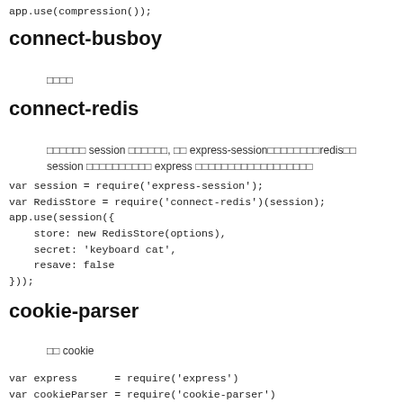app.use(compression());
connect-busboy
□□□□
connect-redis
□□□□□□ session □□□□□□, □□ express-session□□□□□□□□redis□□ session □□□□□□□□□□ express □□□□□□□□□□□□□□□□□□
var session = require('express-session');
var RedisStore = require('connect-redis')(session);
app.use(session({
    store: new RedisStore(options),
    secret: 'keyboard cat',
    resave: false
}));
cookie-parser
□□ cookie
var express      = require('express')
var cookieParser = require('cookie-parser')